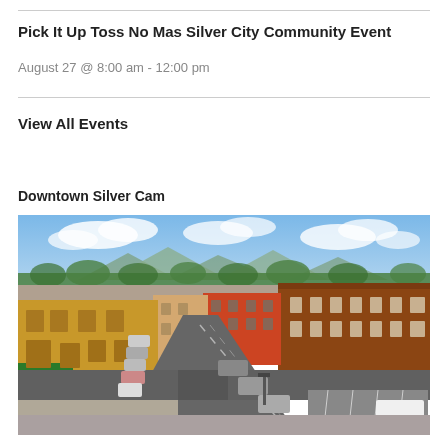Pick It Up Toss No Mas Silver City Community Event
August 27 @ 8:00 am - 12:00 pm
View All Events
Downtown Silver Cam
[Figure (photo): Aerial/elevated view of downtown Silver City street scene showing historic brick buildings, parked cars, a main street intersection, trees, and mountains in the background under a partly cloudy sky.]